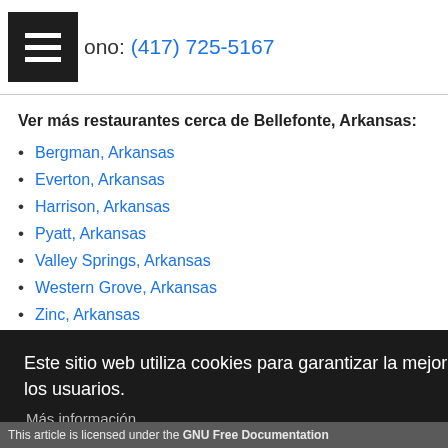ono: (417) 725-5167
Ver más restaurantes cerca de Bellefonte, Arkansas:
Bergman, Arkansas
Everton, Arkansas
Harrison, Arkansas
Pyatt, Arkansas
Valley Springs, Arkansas
Western Grove, Arkansas
Zinc, Arkansas (partial)
Este sitio web utiliza cookies para garantizar la mejor experiencia a los usuarios.
Más información
De acuerdo
This article is licensed under the GNU Free Documentation